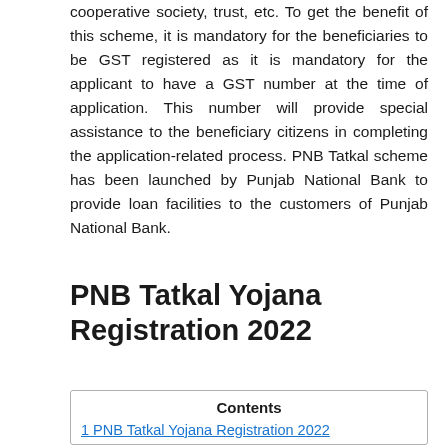cooperative society, trust, etc. To get the benefit of this scheme, it is mandatory for the beneficiaries to be GST registered as it is mandatory for the applicant to have a GST number at the time of application. This number will provide special assistance to the beneficiary citizens in completing the application-related process. PNB Tatkal scheme has been launched by Punjab National Bank to provide loan facilities to the customers of Punjab National Bank.
PNB Tatkal Yojana Registration 2022
| Contents |
| --- |
| 1 PNB Tatkal Yojana Registration 2022 |